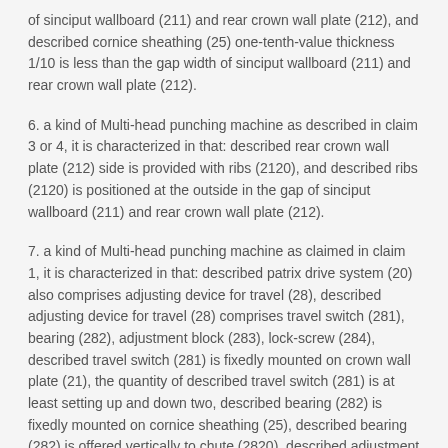of sinciput wallboard (211) and rear crown wall plate (212), and described cornice sheathing (25) one-tenth-value thickness 1/10 is less than the gap width of sinciput wallboard (211) and rear crown wall plate (212).
6. a kind of Multi-head punching machine as described in claim 3 or 4, it is characterized in that: described rear crown wall plate (212) side is provided with ribs (2120), and described ribs (2120) is positioned at the outside in the gap of sinciput wallboard (211) and rear crown wall plate (212).
7. a kind of Multi-head punching machine as claimed in claim 1, it is characterized in that: described patrix drive system (20) also comprises adjusting device for travel (28), described adjusting device for travel (28) comprises travel switch (281), bearing (282), adjustment block (283), lock-screw (284), described travel switch (281) is fixedly mounted on crown wall plate (21), the quantity of described travel switch (281) is at least setting up and down two, described bearing (282) is fixedly mounted on cornice sheathing (25), described bearing (282) is offered vertically to chute (2820), described adjustment block